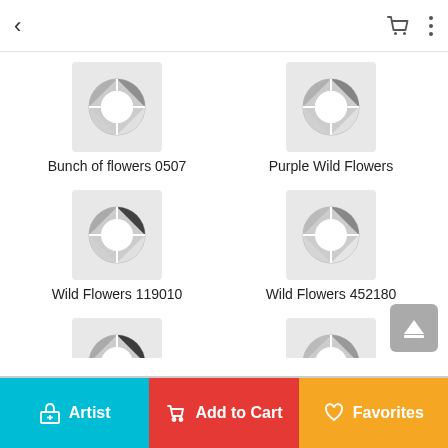< [cart icon] [menu icon]
[Figure (illustration): Donut-style color wheel thumbnail for Bunch of flowers 0507]
Bunch of flowers 0507
[Figure (illustration): Donut-style color wheel thumbnail for Purple Wild Flowers]
Purple Wild Flowers
[Figure (illustration): Donut-style color wheel thumbnail for Wild Flowers 119010]
Wild Flowers 119010
[Figure (illustration): Donut-style color wheel thumbnail for Wild Flowers 452180]
Wild Flowers 452180
[Figure (illustration): Donut-style color wheel thumbnail for Wild flowers 560908]
Wild flowers 560908
[Figure (illustration): Donut-style color wheel thumbnail for Wild flowers bunch]
Wild flowers bunch
[Figure (illustration): Donut-style color wheel thumbnail for Blue poppies]
Blue poppies
[Figure (illustration): Donut-style color wheel thumbnail for Bunch 0708]
Bunch 0708
[Figure (illustration): Donut-style color wheel thumbnail for Garden Flowers]
Garden Flowers
[Figure (illustration): Donut-style color wheel thumbnail for Spring]
Spring
Artist | Add to Cart | Favorites